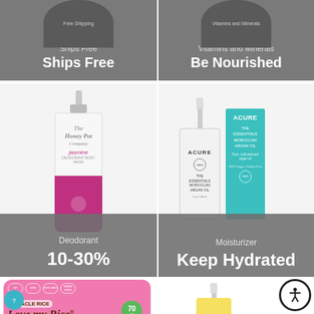[Figure (photo): Top-left panel with gray background showing 'Free Shipping' product image and text 'Ships Free' in white bold]
[Figure (photo): Top-right panel with gray background showing 'Vitamins and Minerals' product and text 'Be Nourished' in white bold]
[Figure (photo): Middle-left: The Honey Pot jasmine deodorant spray bottle (white top, pink/magenta bottom) with gray overlay showing 'Deodorant' and '10-30%']
[Figure (photo): Middle-right: Acure The Essentials Moroccan Argan Oil pump bottle next to teal/turquoise box, gray overlay showing 'Moisturizer' and 'Keep Hydrated']
[Figure (photo): Bottom-left: Miracle Rice 'Love my Rice' pink packaging bag with green calorie badge and 'READY TO EAT RICE' text]
[Figure (photo): Bottom-right: partial view of a yellow/white foam/soap bottle product]